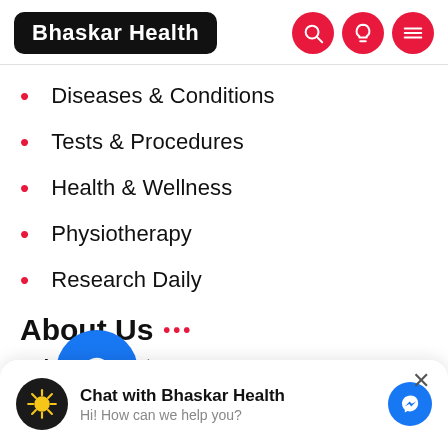Bhaskar Health
Diseases & Conditions
Tests & Procedures
Health & Wellness
Physiotherapy
Research Daily
About Us
Articles List
Chat with Bhaskar Health
Hi! How can we help you?